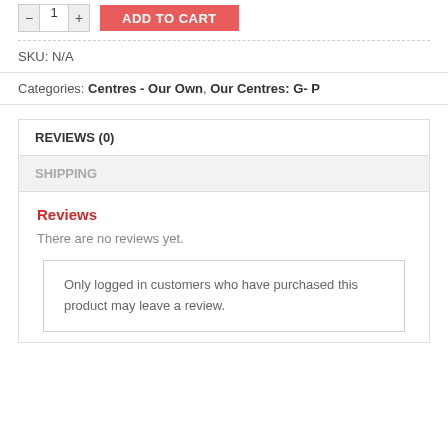SKU: N/A
Categories: Centres - Our Own, Our Centres: G- P
REVIEWS (0)
SHIPPING
Reviews
There are no reviews yet.
Only logged in customers who have purchased this product may leave a review.